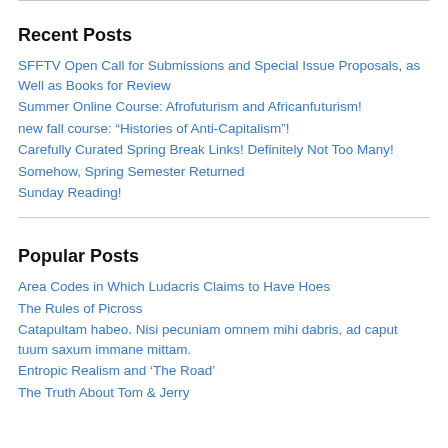Recent Posts
SFFTV Open Call for Submissions and Special Issue Proposals, as Well as Books for Review
Summer Online Course: Afrofuturism and Africanfuturism!
new fall course: “Histories of Anti-Capitalism”!
Carefully Curated Spring Break Links! Definitely Not Too Many!
Somehow, Spring Semester Returned
Sunday Reading!
Popular Posts
Area Codes in Which Ludacris Claims to Have Hoes
The Rules of Picross
Catapultam habeo. Nisi pecuniam omnem mihi dabris, ad caput tuum saxum immane mittam.
Entropic Realism and ‘The Road’
The Truth About Tom & Jerry